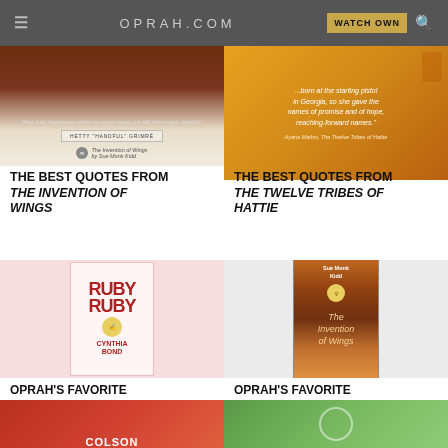OPRAH.COM  WATCH OWN
[Figure (photo): Book quote image for The Invention of Wings by Sue Monk Kidd, brown wood background with Hetty 'Handful' Grimké attribution]
THE BEST QUOTES FROM THE INVENTION OF WINGS
[Figure (photo): Book quote image for The Twelve Tribes of Hattie, orange floral background with quote about Georgia and names of promise]
THE BEST QUOTES FROM THE TWELVE TRIBES OF HATTIE
[Figure (photo): Book cover of Ruby by Cynthia Bond, pink and red illustrated cover]
OPRAH'S FAVORITE PASSAGES FROM RUBY
[Figure (photo): Book cover of The Invention of Wings by Sue Monk Kidd, orange sunset cover]
OPRAH'S FAVORITE PASSAGES FROM THE INVENTION OF WINGS
[Figure (photo): Partial book cover image bottom left, red with COLSON text]
[Figure (photo): Partial book cover image bottom right, green illustrated cover]